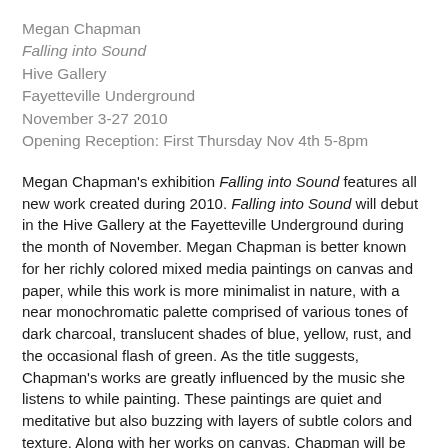Megan Chapman
Falling into Sound
Hive Gallery
Fayetteville Underground
November 3-27 2010
Opening Reception: First Thursday Nov 4th 5-8pm
Megan Chapman's exhibition Falling into Sound features all new work created during 2010. Falling into Sound will debut in the Hive Gallery at the Fayetteville Underground during the month of November. Megan Chapman is better known for her richly colored mixed media paintings on canvas and paper, while this work is more minimalist in nature, with a near monochromatic palette comprised of various tones of dark charcoal, translucent shades of blue, yellow, rust, and the occasional flash of green. As the title suggests, Chapman's works are greatly influenced by the music she listens to while painting. These paintings are quiet and meditative but also buzzing with layers of subtle colors and texture. Along with her works on canvas, Chapman will be showing the Manual for Living : A ten page guide. This